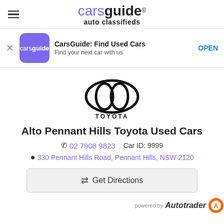carsguide® auto classifieds
CarsGuide: Find Used Cars
Find your next car with us
OPEN
[Figure (logo): Toyota logo — circular overlapping ellipses with TOYOTA text below]
Alto Pennant Hills Toyota Used Cars
02 7908 9823   Car ID: 9999
330 Pennant Hills Road, Pennant Hills, NSW 2120
Get Directions
powered by Autotrader